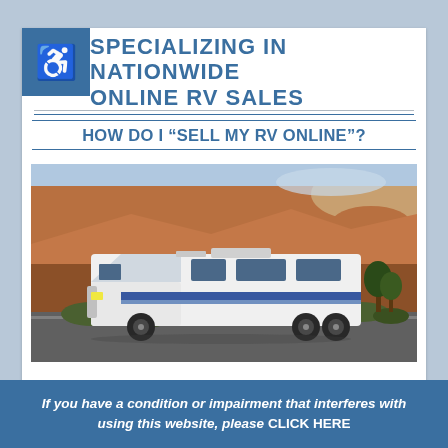SPECIALIZING IN NATIONWIDE ONLINE RV SALES
HOW DO I “SELL MY RV ONLINE”?
[Figure (photo): Photo of a white Class C motorhome RV parked on a road with red rock canyon formations in the background]
If you have a condition or impairment that interferes with using this website, please CLICK HERE